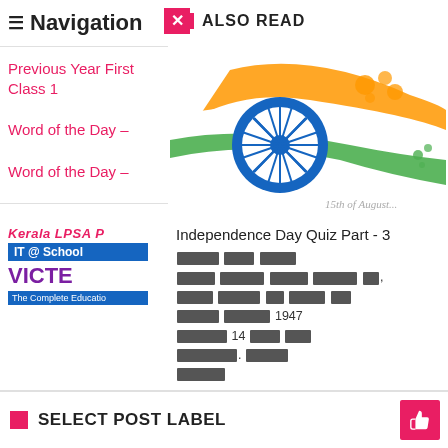Navigation
Previous Year First Class 1
Word of the Day –
Word of the Day –
[Figure (logo): Kerala LPSA IT@School VICTE The Complete Education logo]
ALSO READ
[Figure (photo): Indian Independence Day themed image with Ashoka Chakra and tricolor flag design, '15th of August' text visible]
Independence Day Quiz Part - 3
[Redacted Malayalam text content about Independence Day 1947 and 14th night]
SELECT POST LABEL